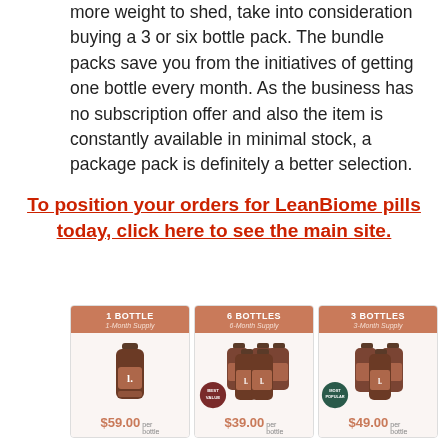more weight to shed, take into consideration buying a 3 or six bottle pack. The bundle packs save you from the initiatives of getting one bottle every month. As the business has no subscription offer and also the item is constantly available in minimal stock, a package pack is definitely a better selection.
To position your orders for LeanBiome pills today, click here to see the main site.
[Figure (infographic): Three product pricing cards for LeanBiome pills: 1 Bottle (1-Month Supply) $59.00, 6 Bottles (6-Month Supply) $39.00 (Best Value), 3 Bottles (3-Month Supply) $49.00 (Most Popular), each with bottle images on salmon/tan background headers.]